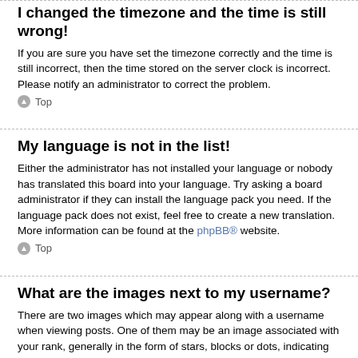I changed the timezone and the time is still wrong!
If you are sure you have set the timezone correctly and the time is still incorrect, then the time stored on the server clock is incorrect. Please notify an administrator to correct the problem.
↑ Top
My language is not in the list!
Either the administrator has not installed your language or nobody has translated this board into your language. Try asking a board administrator if they can install the language pack you need. If the language pack does not exist, feel free to create a new translation. More information can be found at the phpBB® website.
↑ Top
What are the images next to my username?
There are two images which may appear along with a username when viewing posts. One of them may be an image associated with your rank, generally in the form of stars, blocks or dots, indicating how many posts you have made or your status on the board. Another, usually larger, image